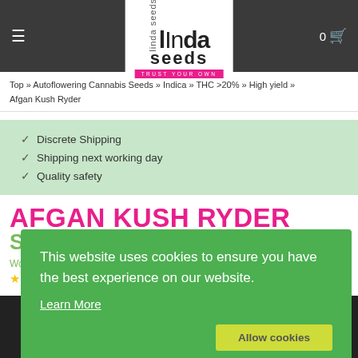Linda Seeds — TRUST YOUR OWN
Top » Autoflowering Cannabis Seeds » Indica » THC >20% » High yield » Afgan Kush Ryder
Discrete Shipping
Shipping next working day
Quality safety
AFGAN KUSH RYDER STRAIN
World …
This website uses cookies to ensure you have the best experience on our website. Learn More  Allow cookies